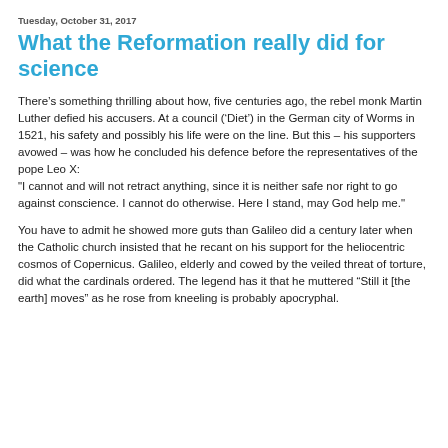Tuesday, October 31, 2017
What the Reformation really did for science
There’s something thrilling about how, five centuries ago, the rebel monk Martin Luther defied his accusers. At a council (‘Diet’) in the German city of Worms in 1521, his safety and possibly his life were on the line. But this – his supporters avowed – was how he concluded his defence before the representatives of the pope Leo X:
"I cannot and will not retract anything, since it is neither safe nor right to go against conscience. I cannot do otherwise. Here I stand, may God help me."
You have to admit he showed more guts than Galileo did a century later when the Catholic church insisted that he recant on his support for the heliocentric cosmos of Copernicus. Galileo, elderly and cowed by the veiled threat of torture, did what the cardinals ordered. The legend has it that he muttered “Still it [the earth] moves” as he rose from kneeling is probably apocryphal.